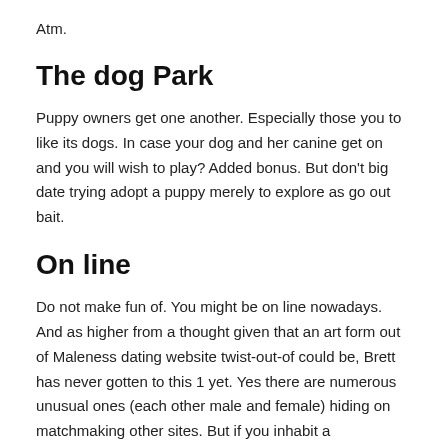Atm.
The dog Park
Puppy owners get one another. Especially those you to like its dogs. In case your dog and her canine get on and you will wish to play? Added bonus. But don't big date trying adopt a puppy merely to explore as go out bait.
On line
Do not make fun of. You might be on line nowadays. And as higher from a thought given that an art form out of Maleness dating website twist-out-of could be, Brett has never gotten to this 1 yet. Yes there are numerous unusual ones (each other male and female) hiding on matchmaking other sites. But if you inhabit a